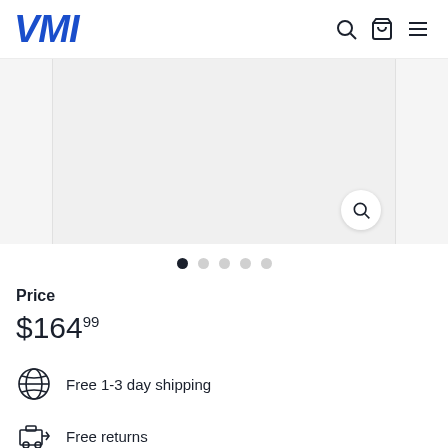VMI
[Figure (screenshot): Product image carousel with zoom button, showing a light gray empty product image area with side panels and a magnifying glass zoom button in the lower right]
• • • • •  (carousel dots, first active)
Price
$164.99
Free 1-3 day shipping
Free returns
Easy & secure payments